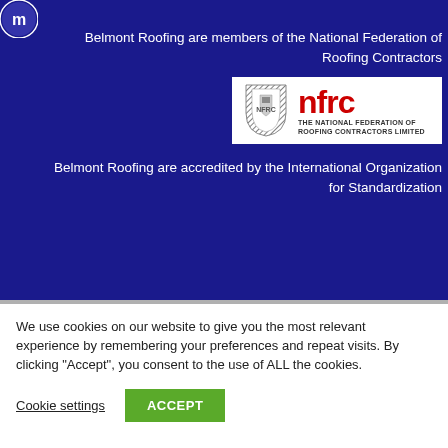[Figure (logo): Blue circular logo with white 'm' icon in top left corner]
Belmont Roofing are members of the National Federation of Roofing Contractors
[Figure (logo): NFRC logo - The National Federation of Roofing Contractors Limited, with red letters NFRC and a shield emblem on white background]
Belmont Roofing are accredited by the International Organization for Standardization
We use cookies on our website to give you the most relevant experience by remembering your preferences and repeat visits. By clicking “Accept”, you consent to the use of ALL the cookies.
Cookie settings
ACCEPT